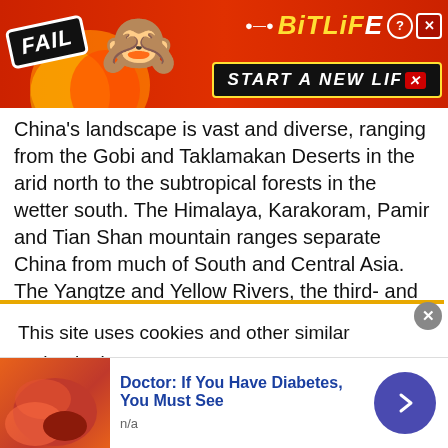[Figure (screenshot): BitLife game advertisement banner with red background, FAIL badge, cartoon character, BitLife logo, and START A NEW LIFE button]
China's landscape is vast and diverse, ranging from the Gobi and Taklamakan Deserts in the arid north to the subtropical forests in the wetter south. The Himalaya, Karakoram, Pamir and Tian Shan mountain ranges separate China from much of South and Central Asia. The Yangtze and Yellow Rivers, the third- and sixth-longest in the world, respectively, run from the Tibetan Plateau to the densely populated eastern seaboard. China's coastline along the Pacific Ocean is 14,500 kilometers (9,000 mi) long and is bounded by the Bohai, Yellow, East China and South China seas. China connects through the K
This site uses cookies and other similar technologies to provide site functionality, analyze traffic and usage, and
[Figure (screenshot): Bottom ad: Doctor: If You Have Diabetes, You Must See, n/a, with candy/gummy image and navigation arrow button]